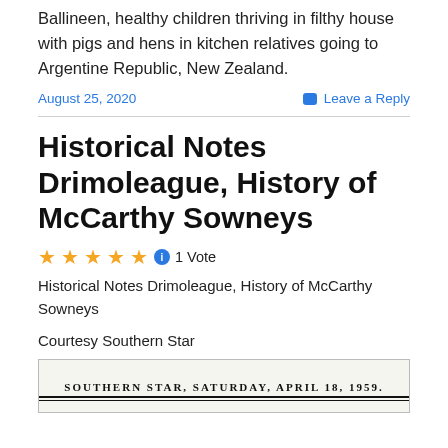Ballineen, healthy children thriving in filthy house with pigs and hens in kitchen relatives going to Argentine Republic, New Zealand.
August 25, 2020 Leave a Reply
Historical Notes Drimoleague, History of McCarthy Sowneys
★★★★★ ⓘ 1 Vote
Historical Notes Drimoleague, History of McCarthy Sowneys
Courtesy Southern Star
[Figure (photo): Newspaper header: SOUTHERN STAR, SATURDAY, APRIL 18, 1959.]